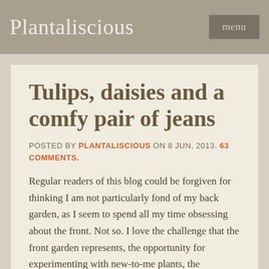Plantaliscious  menu
Tulips, daisies and a comfy pair of jeans
POSTED BY PLANTALISCIOUS ON 8 JUN, 2013. 63 COMMENTS.
Regular readers of this blog could be forgiven for thinking I am not particularly fond of my back garden, as I seem to spend all my time obsessing about the front. Not so. I love the challenge that the front garden represents, the opportunity for experimenting with new-to-me plants, the wonderful view, but it is also a demanding project, and by its nature when I am